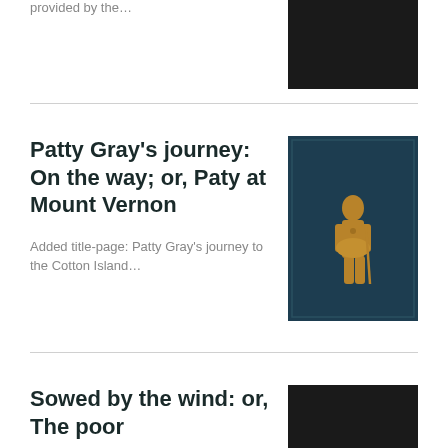provided by the…
[Figure (photo): Dark book cover, mostly black]
Patty Gray's journey: On the way; or, Paty at Mount Vernon
Added title-page: Patty Gray's journey to the Cotton Island…
[Figure (photo): Dark teal book cover with golden embossed figure of a child standing]
Sowed by the wind: or, The poor
[Figure (photo): Dark book cover, mostly black with faint text]